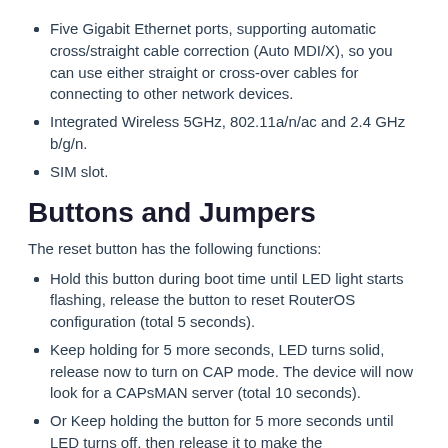Five Gigabit Ethernet ports, supporting automatic cross/straight cable correction (Auto MDI/X), so you can use either straight or cross-over cables for connecting to other network devices.
Integrated Wireless 5GHz, 802.11a/n/ac and 2.4 GHz b/g/n.
SIM slot.
Buttons and Jumpers
The reset button has the following functions:
Hold this button during boot time until LED light starts flashing, release the button to reset RouterOS configuration (total 5 seconds).
Keep holding for 5 more seconds, LED turns solid, release now to turn on CAP mode. The device will now look for a CAPsMAN server (total 10 seconds).
Or Keep holding the button for 5 more seconds until LED turns off, then release it to make the RouterBOARD look for Netinstall servers (total 15 seconds).
Regardless of the above option used, the system will load the